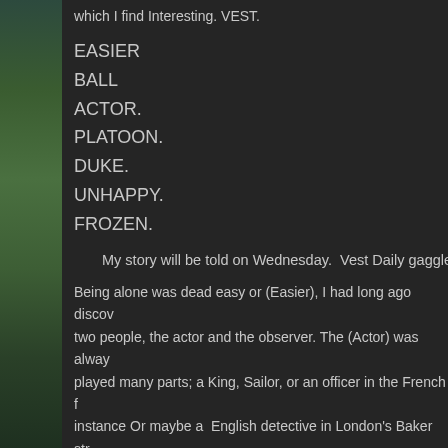which I find Interesting. VEST.
EASIER
BALL
ACTOR.
PLATOON.
DUKE.
UNHAPPY.
FROZEN.
My story will be told on Wednesday. Vest Daily gaggle.   H
Being alone was dead easy or (Easier), I had long ago discov two people, the actor and the observer. The (Actor) was alway played many parts; a King, Sailor, or an officer in the French f instance Or maybe a  English detective in London's Baker str Nelsons Flagship popping a cannon (Ball) down the barrel of "There he goes", I was  able to say about myself, even in the at that wretched boarding school when I ran around  a (Froze keeping as far as possible from the (Ball), or cantering across camel leading my (Platoon of of ex robbers and murderers an (Duke) disappointed in love, in a charge against a disside